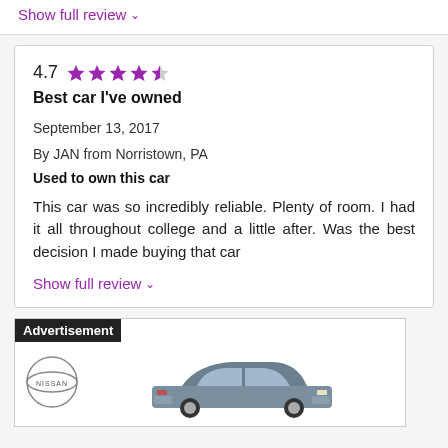Show full review ˅
4.7 ★★★★☆ Best car I've owned
September 13, 2017
By JAN from Norristown, PA
Used to own this car
This car was so incredibly reliable. Plenty of room. I had it all throughout college and a little after. Was the best decision I made buying that car
Show full review ˅
[Figure (photo): Advertisement banner showing Nissan logo and a gray Nissan SUV (Rogue)]